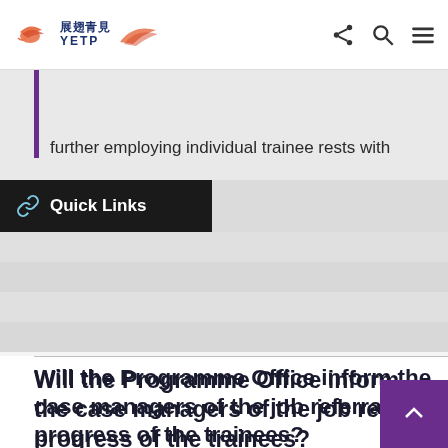展翅青見 YETP — navigation header with share, search, menu icons
further employing individual trainee rests with
Quick Links
Will the Programme Office inform the case managers of the job referral progress of the trainees?
Yes. Once the job application and the details of job referral are confirmed, the case manager of the trainee concerned will receive an email notification of trainee's referral progress to